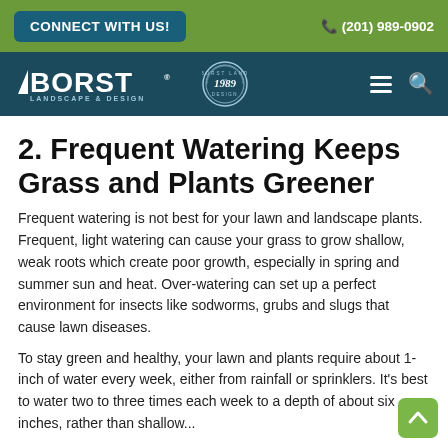CONNECT WITH US! | (201) 989-0902
[Figure (logo): Aborst Landscape & Design logo with circular badge est. 1989, on dark teal navigation bar with hamburger menu and search icon]
2. Frequent Watering Keeps Grass and Plants Greener
Frequent watering is not best for your lawn and landscape plants. Frequent, light watering can cause your grass to grow shallow, weak roots which create poor growth, especially in spring and summer sun and heat. Over-watering can set up a perfect environment for insects like sodworms, grubs and slugs that cause lawn diseases.
To stay green and healthy, your lawn and plants require about 1-inch of water every week, either from rainfall or sprinklers. It's best to water two to three times each week to a depth of about six inches, rather than shallow...